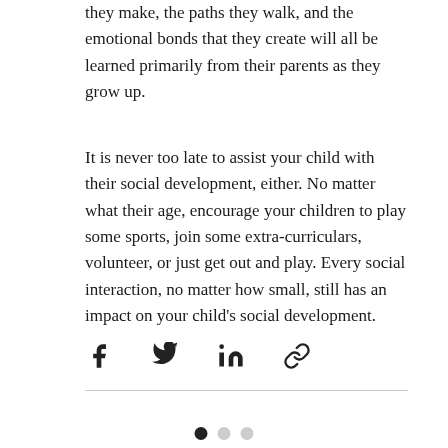they make, the paths they walk, and the emotional bonds that they create will all be learned primarily from their parents as they grow up.
It is never too late to assist your child with their social development, either. No matter what their age, encourage your children to play some sports, join some extra-curriculars, volunteer, or just get out and play. Every social interaction, no matter how small, still has an impact on your child's social development.
[Figure (infographic): Social sharing icons: Facebook, Twitter, LinkedIn, and a link/chain icon]
[Figure (infographic): Three pagination dots: first dot filled black, second and third dots light gray]